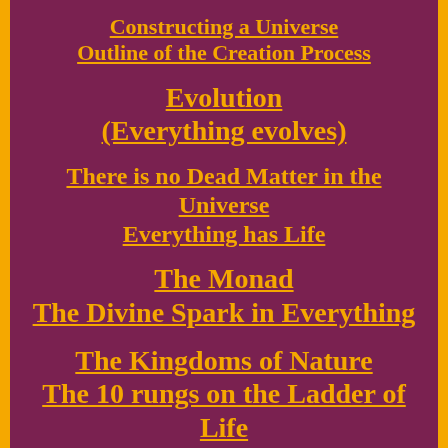Constructing a Universe
Outline of the Creation Process
Evolution
(Everything evolves)
There is no Dead Matter in the Universe
Everything has Life
The Monad
The Divine Spark in Everything
The Kingdoms of Nature
The 10 rungs on the Ladder of Life
The Sevenfold Constitution of Man
Yes, we all operate at 7 levels